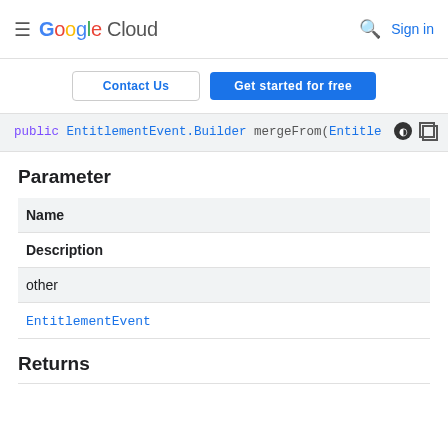Google Cloud  Sign in
Contact Us  Get started for free
public EntitlementEvent.Builder mergeFrom(Entitle
Parameter
| Name | Description |
| --- | --- |
| other | EntitlementEvent |
Returns